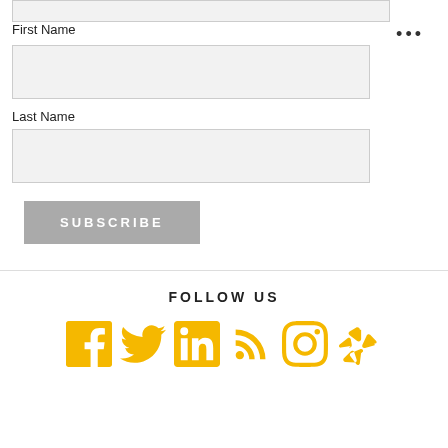[Figure (screenshot): Top portion of a web form showing a partially visible input field at the top, then a First Name label with an empty input box, a three-dot menu icon to the right, a Last Name label with an empty input box, and a grey SUBSCRIBE button.]
First Name
Last Name
SUBSCRIBE
FOLLOW US
[Figure (infographic): Row of six social media icons in golden/amber yellow: Facebook, Twitter, LinkedIn, RSS feed, Instagram, Yelp]